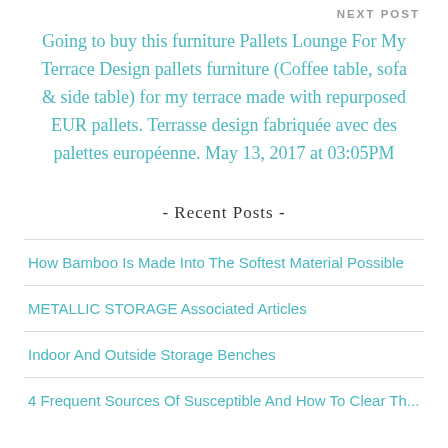NEXT POST
Going to buy this furniture Pallets Lounge For My Terrace Design pallets furniture (Coffee table, sofa & side table) for my terrace made with repurposed EUR pallets. Terrasse design fabriquée avec des palettes européenne. May 13, 2017 at 03:05PM
- Recent Posts -
How Bamboo Is Made Into The Softest Material Possible
METALLIC STORAGE Associated Articles
Indoor And Outside Storage Benches
4 Frequent Sources Of Susceptible And How To Clear Them